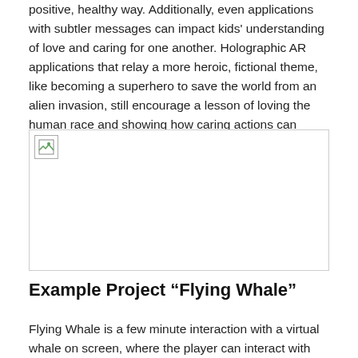positive, healthy way. Additionally, even applications with subtler messages can impact kids' understanding of love and caring for one another. Holographic AR applications that relay a more heroic, fictional theme, like becoming a superhero to save the world from an alien invasion, still encourage a lesson of loving the human race and showing how caring actions can impact the world we live in.
[Figure (photo): A placeholder image with a broken image icon in the top-left corner, bordered by a thin gray line.]
Example Project “Flying Whale”
Flying Whale is a few minute interaction with a virtual whale on screen, where the player can interact with the whale in a variety of